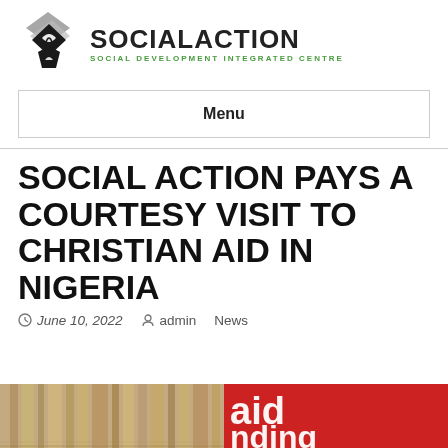[Figure (logo): SocialAction – Social Development Integrated Centre logo with geometric diamond/book icon in grey and black, and green tagline text]
Menu
SOCIAL ACTION PAYS A COURTESY VISIT TO CHRISTIAN AID IN NIGERIA
June 10, 2022  admin  News
[Figure (photo): Partial thumbnail image showing books/documents on the left and a red Christian Aid logo/text on the right]